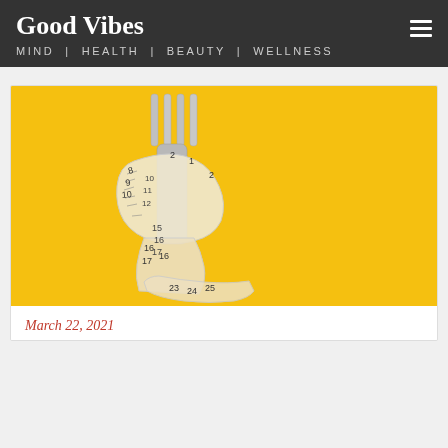Good Vibes — MIND | HEALTH | BEAUTY | WELLNESS
[Figure (photo): A fork wrapped with a white measuring tape on a bright yellow background, symbolizing diet and nutrition.]
March 22, 2021